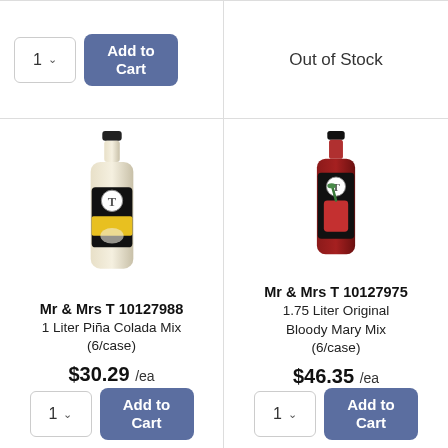[Figure (other): Quantity selector showing '1' with dropdown arrow and 'Add to Cart' blue button]
Out of Stock
[Figure (photo): Mr & Mrs T Piña Colada Mix bottle (1 Liter)]
Mr & Mrs T 10127988
1 Liter Piña Colada Mix (6/case)
$30.29 /ea
[Figure (photo): Mr & Mrs T Original Bloody Mary Mix bottle (1.75 Liter)]
Mr & Mrs T 10127975
1.75 Liter Original Bloody Mary Mix (6/case)
$46.35 /ea
[Figure (other): Quantity selector showing '1' with dropdown arrow and 'Add to Cart' blue button (left product)]
[Figure (other): Quantity selector showing '1' with dropdown arrow and 'Add to Cart' blue button (right product)]